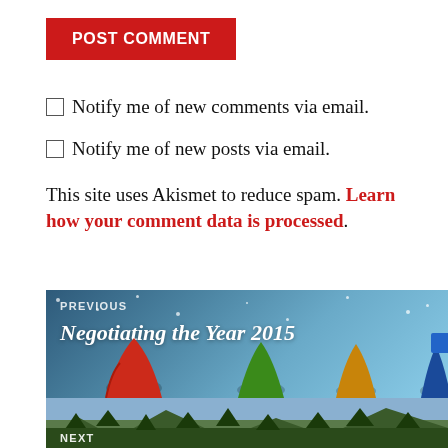POST COMMENT
Notify me of new comments via email.
Notify me of new posts via email.
This site uses Akismet to reduce spam. Learn how your comment data is processed.
[Figure (illustration): Navigation block: PREVIOUS post 'Negotiating the Year 2015' with festive figurines on snowy background, and NEXT post below with mountain/forest landscape.]